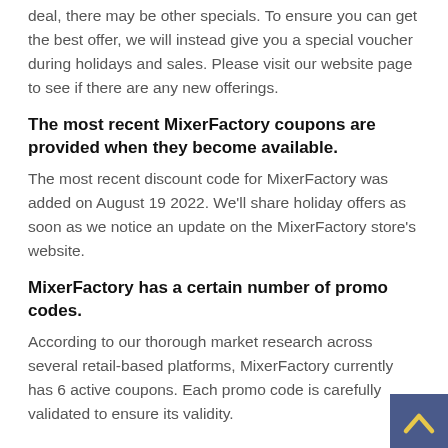deal, there may be other specials. To ensure you can get the best offer, we will instead give you a special voucher during holidays and sales. Please visit our website page to see if there are any new offerings.
The most recent MixerFactory coupons are provided when they become available.
The most recent discount code for MixerFactory was added on August 19 2022. We'll share holiday offers as soon as we notice an update on the MixerFactory store's website.
MixerFactory has a certain number of promo codes.
According to our thorough market research across several retail-based platforms, MixerFactory currently has 6 active coupons. Each promo code is carefully validated to ensure its validity.